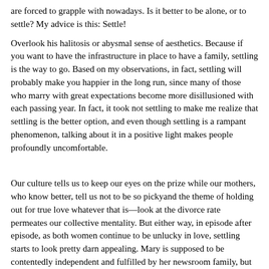are forced to grapple with nowadays. Is it better to be alone, or to settle? My advice is this: Settle!
Overlook his halitosis or abysmal sense of aesthetics. Because if you want to have the infrastructure in place to have a family, settling is the way to go. Based on my observations, in fact, settling will probably make you happier in the long run, since many of those who marry with great expectations become more disillusioned with each passing year. In fact, it took not settling to make me realize that settling is the better option, and even though settling is a rampant phenomenon, talking about it in a positive light makes people profoundly uncomfortable.
Our culture tells us to keep our eyes on the prize while our mothers, who know better, tell us not to be so pickyand the theme of holding out for true love whatever that is—look at the divorce rate permeates our collective mentality. But either way, in episode after episode, as both women continue to be unlucky in love, settling starts to look pretty darn appealing. Mary is supposed to be contentedly independent and fulfilled by her newsroom family, but in fact her life seems lonely. Are we to assume that at the end of the series, Mary, by then in her late 30s, found her soul mate after the lights in the newsroom went out and her work family was disbanded?